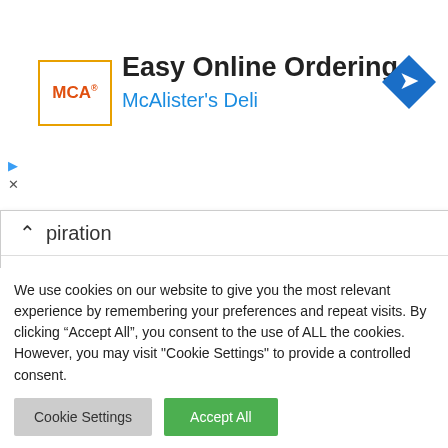[Figure (screenshot): McAlister's Deli advertisement banner with logo, title 'Easy Online Ordering', subtitle 'McAlister's Deli', and a blue navigation arrow icon on the right.]
Inspiration
Investment
Mental Health
Money Tips
Travel
Uncategorized
We use cookies on our website to give you the most relevant experience by remembering your preferences and repeat visits. By clicking “Accept All”, you consent to the use of ALL the cookies. However, you may visit "Cookie Settings" to provide a controlled consent.